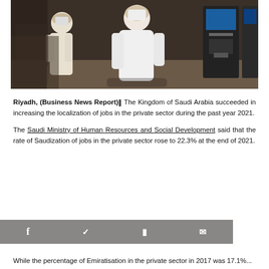[Figure (photo): Men in traditional Saudi white thobes near ATM machines in an indoor setting]
Riyadh, (Business News Report)‖ The Kingdom of Saudi Arabia succeeded in increasing the localization of jobs in the private sector during the past year 2021.
The Saudi Ministry of Human Resources and Social Development said that the rate of Saudization of jobs in the private sector rose to 22.3% at the end of 2021.
While the percentage of Emiratisation in the private sector in 2017 was 17.1%...